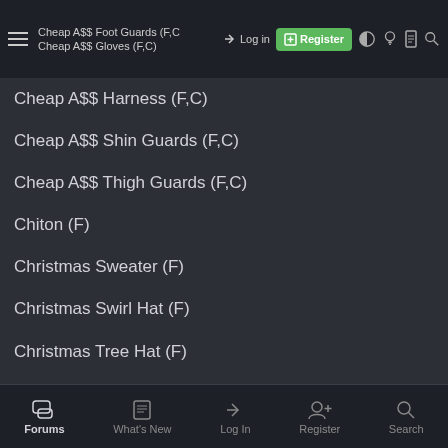Cheap A$$ Foot Guards (F,C) | Log in | Register | Cheap A$$ Gloves (F,C)
Cheap A$$ Harness (F,C)
Cheap A$$ Shin Guards (F,C)
Cheap A$$ Thigh Guards (F,C)
Chiton (F)
Christmas Sweater (F)
Christmas Swirl Hat (F)
Christmas Tree Hat (F)
Christmas Yellow Flower
Colonist Standard Issue Jumpsuit (F)
Explorer Arm Guards (F)
Explorer Face Guard (F)
Explorer Gloves (F)
Explorer Harness (F)
Explorer Shin Guards (F)
Forums | What's New | Log In | Register | Search